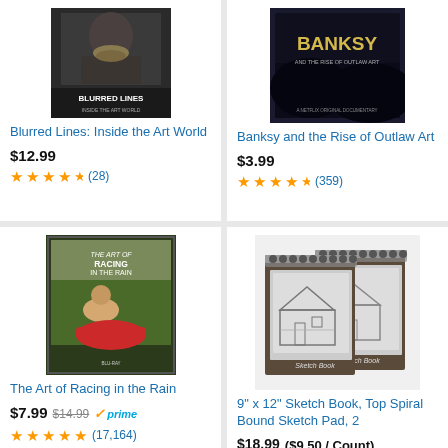[Figure (photo): Product image for Blurred Lines: Inside the Art World - movie cover]
Blurred Lines: Inside the Art World
$12.99
★★★★½ (28)
[Figure (photo): Product image for Banksy and the Rise of Outlaw Art - book/movie cover]
Banksy and the Rise of Outlaw Art
$3.99
★★★★½ (359)
[Figure (photo): Product image for The Art of Racing in the Rain - Blu-ray movie cover]
The Art of Racing in the Rain
$7.99  $14.99  ✓prime
★★★★★ (17,164)
[Figure (photo): Product image for 9" x 12" Sketch Book, Top Spiral Bound Sketch Pad, 2 - two spiral bound sketchbooks]
9" x 12" Sketch Book, Top Spiral Bound Sketch Pad, 2
$18.99 ($9.50 / Count)  $25.99 ($13.00 / Count)  ✓prime
★★★★★ (5,063)